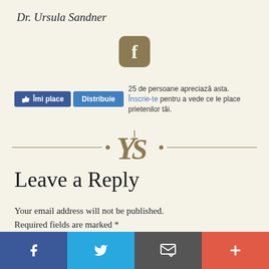Dr. Ursula Sandner
[Figure (logo): Facebook icon - rounded square with stylized f in gold/tan color]
[Figure (screenshot): Facebook Like and Share buttons with text: 25 de persoane apreciaza asta. Inscrie-te pentru a vede ce le place prietenilor tai.]
[Figure (logo): YS decorative logo divider with horizontal lines and diamond dots in gold color]
Leave a Reply
Your email address will not be published. Required fields are marked *
Facebook | Twitter | Email | Plus social share buttons